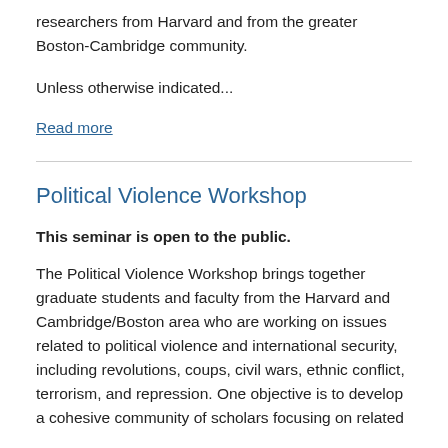researchers from Harvard and from the greater Boston-Cambridge community.
Unless otherwise indicated...
Read more
Political Violence Workshop
This seminar is open to the public.
The Political Violence Workshop brings together graduate students and faculty from the Harvard and Cambridge/Boston area who are working on issues related to political violence and international security, including revolutions, coups, civil wars, ethnic conflict, terrorism, and repression. One objective is to develop a cohesive community of scholars focusing on related research. The second objective is to share and develop